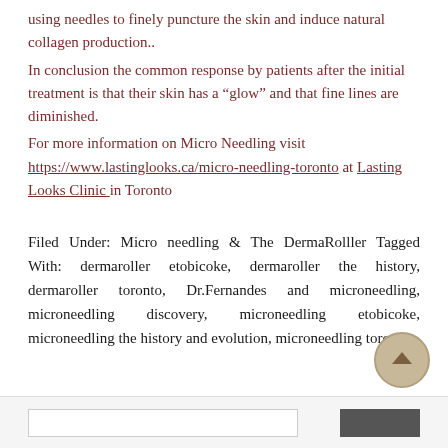using needles to finely puncture the skin and induce natural collagen production..
In conclusion the common response by patients after the initial treatment is that their skin has a “glow” and that fine lines are diminished.
For more information on Micro Needling visit https://www.lastinglooks.ca/micro-needling-toronto at Lasting Looks Clinic in Toronto
Filed Under: Micro needling & The DermaRolller Tagged With: dermaroller etobicoke, dermaroller the history, dermaroller toronto, Dr.Fernandes and microneedling, microneedling discovery, microneedling etobicoke, microneedling the history and evolution, microneedling toronto